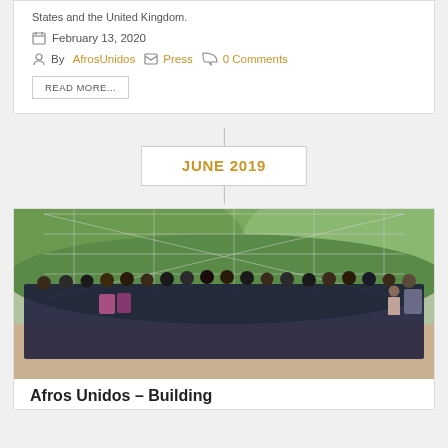States and the United Kingdom.
February 13, 2020
By AfrosUnidos  Press  0 Comments
READ MORE...
JUNE 2019
[Figure (photo): Group photo of approximately 25 people in matching dark navy t-shirts with a logo, standing in front of a chain-link fence with a green hill in the background. Outdoor setting, appears to be a sports court.]
Afros Unidos – Building